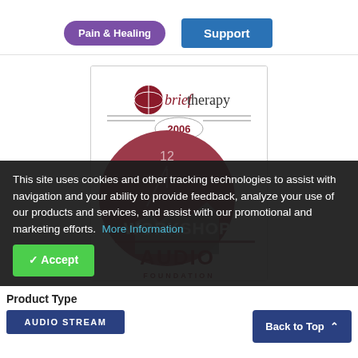Pain & Healing
Support
[Figure (illustration): Brief Therapy 2006 Workshop Audio product cover image showing a clock face and staircase graphic with 'WORKSHOP AUDIO FOUNDATION' text]
This site uses cookies and other tracking technologies to assist with navigation and your ability to provide feedback, analyze your use of our products and services, and assist with our promotional and marketing efforts. More Information
Accept
Product Type
AUDIO STREAM
Back to Top